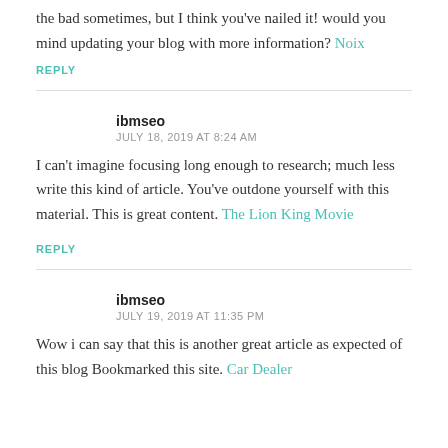I high appreciate this post. It's hard to find the good from the bad sometimes, but I think you've nailed it! would you mind updating your blog with more information? Noix
REPLY
ibmseo
JULY 18, 2019 AT 8:24 AM
I can't imagine focusing long enough to research; much less write this kind of article. You've outdone yourself with this material. This is great content. The Lion King Movie
REPLY
ibmseo
JULY 19, 2019 AT 11:35 PM
Wow i can say that this is another great article as expected of this blog Bookmarked this site. Car Dealer